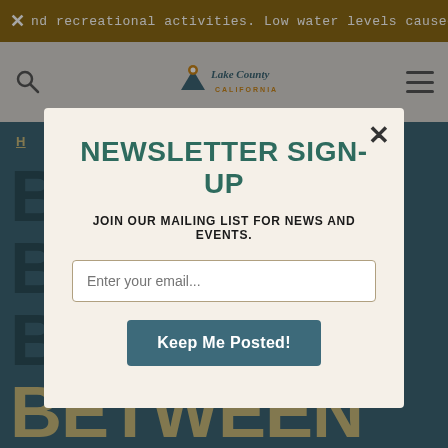nd recreational activities. Low water levels caused by
[Figure (logo): Lake County California logo with mountain and location pin icon]
H...
NEWSLETTER SIGN-UP
JOIN OUR MAILING LIST FOR NEWS AND EVENTS.
Enter your email...
Keep Me Posted!
BETWEEN CONTEMPORARY NATIVE AMERICAN